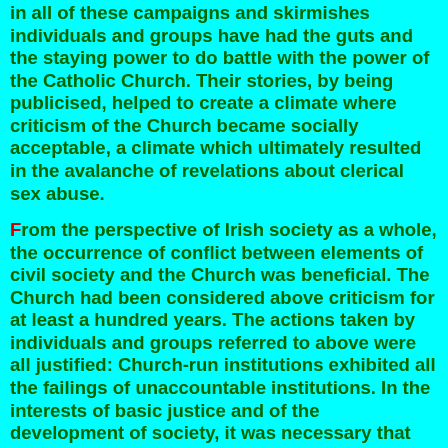in all of these campaigns and skirmishes individuals and groups have had the guts and the staying power to do battle with the power of the Catholic Church. Their stories, by being publicised, helped to create a climate where criticism of the Church became socially acceptable, a climate which ultimately resulted in the avalanche of revelations about clerical sex abuse.
From the perspective of Irish society as a whole, the occurrence of conflict between elements of civil society and the Church was beneficial. The Church had been considered above criticism for at least a hundred years. The actions taken by individuals and groups referred to above were all justified: Church-run institutions exhibited all the failings of unaccountable institutions. In the interests of basic justice and of the development of society, it was necessary that the Church should be exposed to public criticism and forced to give ground on various matters.
These conflicts were also beneficial to society in the sense that the prosecution of a campaign